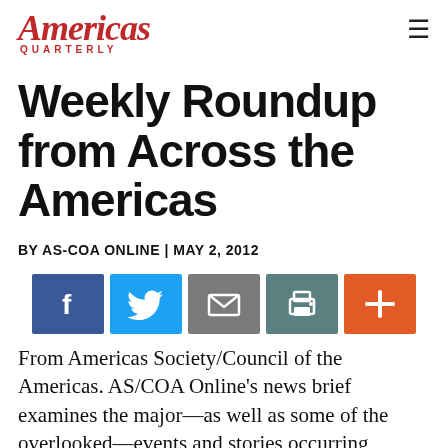Americas Quarterly
Weekly Roundup from Across the Americas
BY AS-COA ONLINE | MAY 2, 2012
[Figure (infographic): Social share buttons: Facebook, Twitter, Email, Print, Plus]
From Americas Society/Council of the Americas. AS/COA Online’s news brief examines the major—as well as some of the overlooked—events and stories occurring